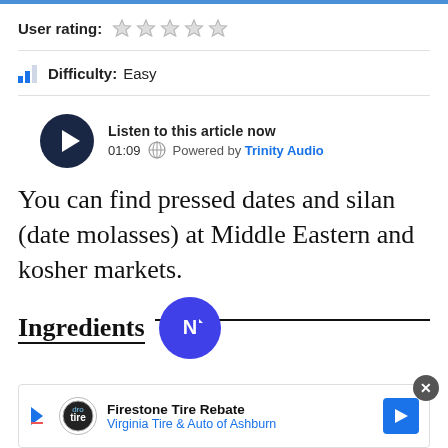User rating: ☆☆☆☆☆
Difficulty: Easy
[Figure (other): Audio player widget: Listen to this article now, 01:09, Powered by Trinity Audio]
You can find pressed dates and silan (date molasses) at Middle Eastern and kosher markets.
Ingredients
[Figure (logo): Newsbreak circular blue button with N arrow icon]
[Figure (other): Advertisement banner: Firestone Tire Rebate, Virginia Tire & Auto of Ashburn]